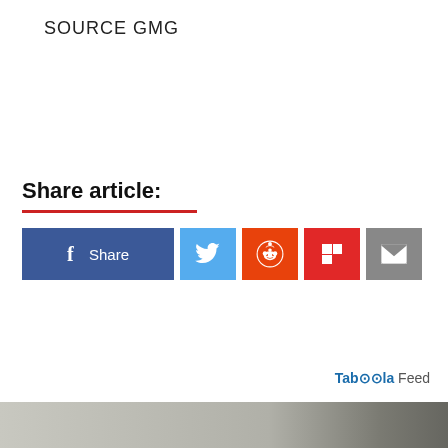SOURCE GMG
Share article:
[Figure (infographic): Social share buttons row: Facebook Share (blue), Twitter bird (light blue), Reddit alien (orange-red), Flipboard (red), Email envelope (grey)]
Taboola Feed
[Figure (photo): Partial image strip at bottom of page, appears to be a photo, partially visible]